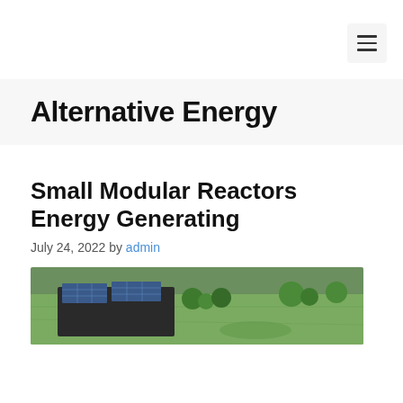Menu button / navigation header
Alternative Energy
Small Modular Reactors Energy Generating
July 24, 2022 by admin
[Figure (photo): Aerial view of a building with solar panels on its roof surrounded by green fields]